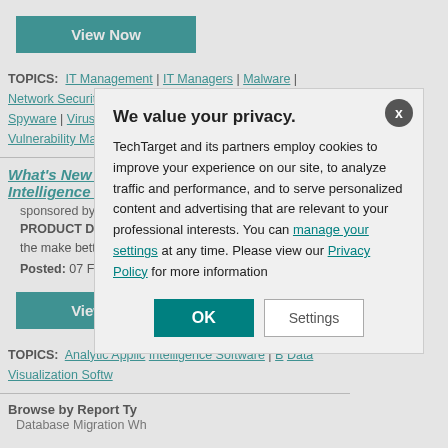[Figure (other): View Now button (teal/green)]
TOPICS: IT Management | IT Managers | Malware | Network Security | Risk Management | Security Threats | Spyware | Virus Detection Software | Virus Protection | Vulnerability Management
What's New with IBM Cognos Business Intelligence V10.1
sponsored by IBM
PRODUCT DEMO: Intelligence V10.1 th organization with the make better, faster, s
Posted: 07 Feb 201
[Figure (other): View Now button (teal/green)]
TOPICS: Analytic Applic Intelligence Software | B Data Visualization Softw
Browse by Report Ty Database Migration Wh
We value your privacy.

TechTarget and its partners employ cookies to improve your experience on our site, to analyze traffic and performance, and to serve personalized content and advertising that are relevant to your professional interests. You can manage your settings at any time. Please view our Privacy Policy for more information